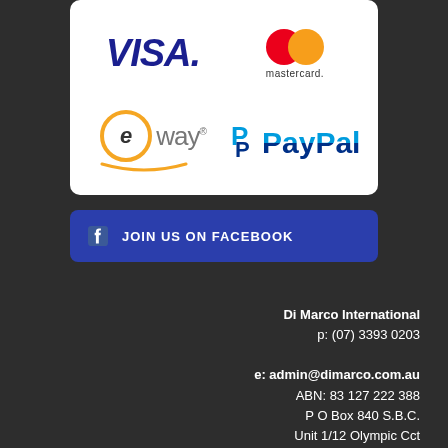[Figure (logo): Payment method logos: VISA, Mastercard, eWAY, PayPal displayed in a 2x2 grid on white rounded box]
JOIN US ON FACEBOOK
Di Marco International
p: (07) 3393 0203
e: admin@dimarco.com.au
ABN: 83 127 222 388
P O Box 840 S.B.C.
Unit 1/12 Olympic Cct